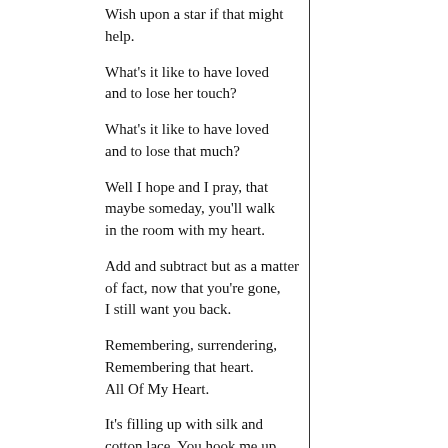Wish upon a star if that might help.
What's it like to have loved
and to lose her touch?
What's it like to have loved
and to lose that much?
Well I hope and I pray, that
maybe someday, you'll walk
in the room with my heart.
Add and subtract but as a matter
of fact, now that you're gone,
I still want you back.
Remembering, surrendering,
Remembering that heart.
All Of My Heart.
It's filling up with silk and
cotton lace. You hook me up
I rendezvous at your place.
Your lipstick and your
lip gloss seals my fate.